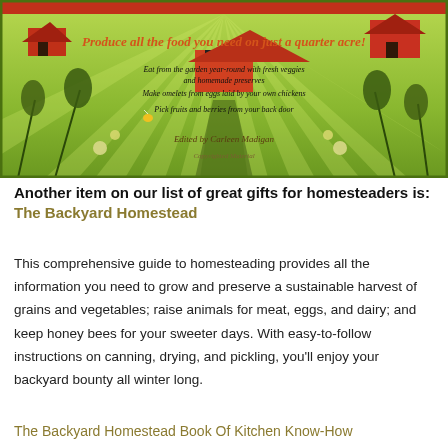[Figure (illustration): Book cover of The Backyard Homestead showing a green field with rays of light, farm buildings, plants and flowers, with text overlay. Orange italic title reads 'Produce all the food you need on just a quarter acre!' followed by three bullet points and edited by Carleen Madigan.]
Another item on our list of great gifts for homesteaders is: The Backyard Homestead
This comprehensive guide to homesteading provides all the information you need to grow and preserve a sustainable harvest of grains and vegetables; raise animals for meat, eggs, and dairy; and keep honey bees for your sweeter days. With easy-to-follow instructions on canning, drying, and pickling, you'll enjoy your backyard bounty all winter long.
The Backyard Homestead Book Of Kitchen Know-How